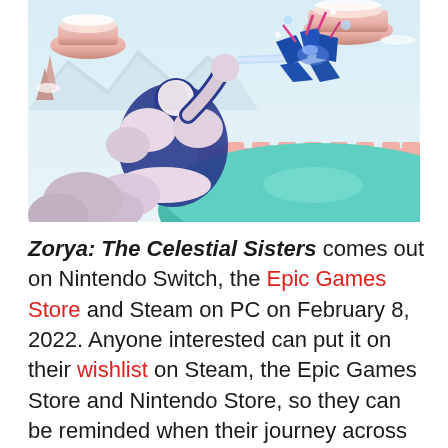[Figure (photo): Screenshot from the video game Zorya: The Celestial Sisters showing a stylized winter fantasy scene. A character in blue and white clothing reaches toward a glowing blue origami-like creature. The background features snowy pastel-colored floating islands, candy-colored architecture, and a teal/mint colored rounded surface in the foreground.]
Zorya: The Celestial Sisters comes out on Nintendo Switch, the Epic Games Store and Steam on PC on February 8, 2022. Anyone interested can put it on their wishlist on Steam, the Epic Games Store and Nintendo Store, so they can be reminded when their journey across Yursi will begin.